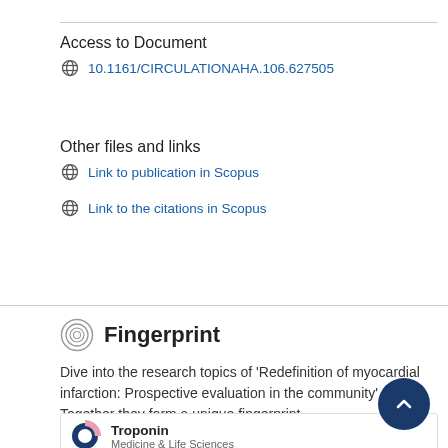Access to Document
10.1161/CIRCULATIONAHA.106.627505
Other files and links
Link to publication in Scopus
Link to the citations in Scopus
Fingerprint
Dive into the research topics of 'Redefinition of myocardial infarction: Prospective evaluation in the community'. Together they form a unique fingerprint.
Troponin
Medicine & Life Sciences